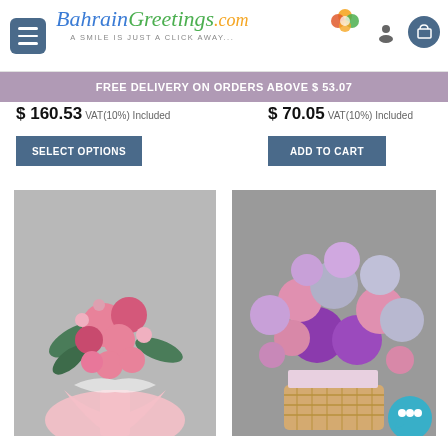BahrainGreetings.com — A SMILE IS JUST A CLICK AWAY...
FREE DELIVERY ON ORDERS ABOVE $ 53.07
$ 160.53 VAT(10%) Included
$ 70.05 VAT(10%) Included
SELECT OPTIONS
ADD TO CART
[Figure (photo): Pink flower bouquet wrapped in pink paper, held in hand]
[Figure (photo): Balloon arrangement with purple, pink and silver balloons over a wicker gift basket with stuffed animal]